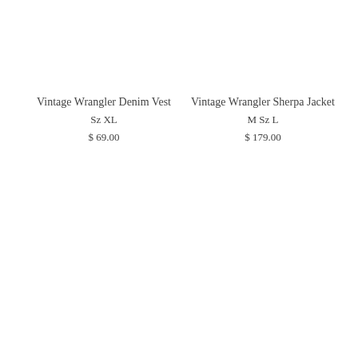Vintage Wrangler Denim Vest
Sz XL
$ 69.00
Vintage Wrangler Sherpa Jacket
M Sz L
$ 179.00